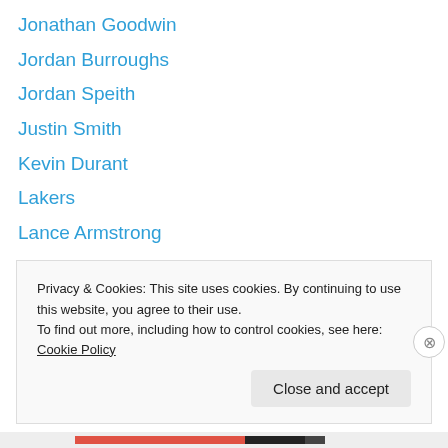Jonathan Goodwin
Jordan Burroughs
Jordan Speith
Justin Smith
Kevin Durant
Lakers
Lance Armstrong
Larry Allen
Lolo Jones
London
LSU
Mac Brown
Manny Pacquiao
Privacy & Cookies: This site uses cookies. By continuing to use this website, you agree to their use. To find out more, including how to control cookies, see here: Cookie Policy
Close and accept